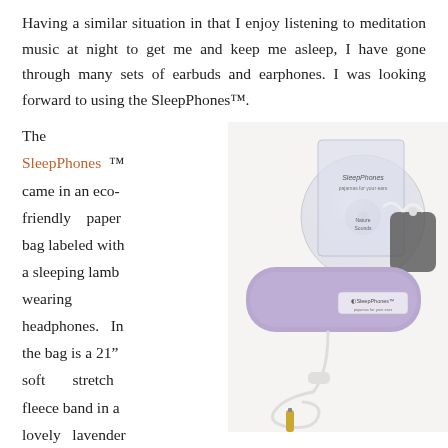Having a similar situation in that I enjoy listening to meditation music at night to get me and keep me asleep, I have gone through many sets of earbuds and earphones. I was looking forward to using the SleepPhones™.
The SleepPhones ™ came in an eco-friendly paper bag labeled with a sleeping lamb wearing headphones. In the bag is a 21″ soft stretch fleece band in a lovely lavender color (don't worry guys, it also comes in grey and black) with
[Figure (photo): Product photo showing SleepPhones headband in lavender color with a CD (SleepPhones pajamas for your ears, Nature Sounds) behind it, a small grey pouch with white ribbon, and white audio cable with 3.5mm jack in front, all on a white background.]